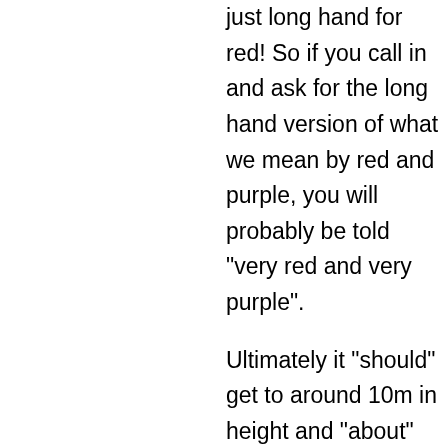just long hand for red! So if you call in and ask for the long hand version of what we mean by red and purple, you will probably be told "very red and very purple".
Ultimately it "should" get to around 10m in height and "about" 3m wide. We use the quotes with trepidation because we know there are some